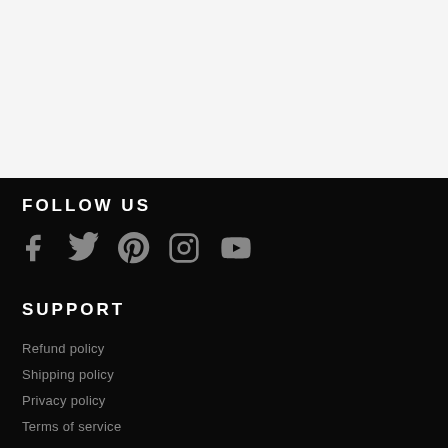FOLLOW US
[Figure (infographic): Social media icons: Facebook, Twitter, Pinterest, Instagram, YouTube]
SUPPORT
Refund policy
Shipping policy
Privacy policy
Terms of service
Contact Us